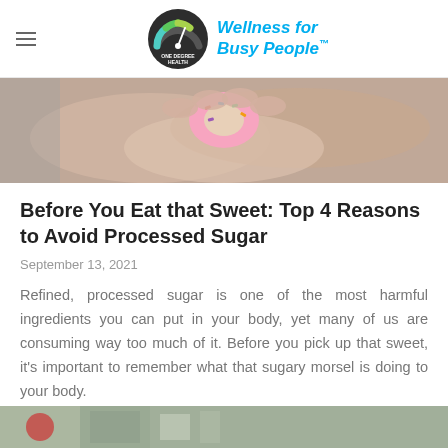ONE DEGREE HEALTH — Wellness for Busy People™
[Figure (photo): Close-up photo of hands holding a colorful frosted donut or sweet pastry]
Before You Eat that Sweet: Top 4 Reasons to Avoid Processed Sugar
September 13, 2021
Refined, processed sugar is one of the most harmful ingredients you can put in your body, yet many of us are consuming way too much of it. Before you pick up that sweet, it's important to remember what that sugary morsel is doing to your body.
[Figure (photo): Partial bottom image, partially visible at bottom of page]